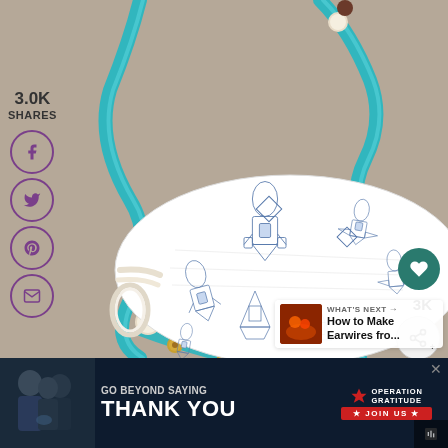[Figure (photo): A fabric face mask with blue rocket/spacecraft print pattern on white fabric, attached to a teal/blue metallic ribbon lanyard with wooden and black beads. The background is tan/brown cardboard. Social sharing buttons (Facebook, Twitter, Pinterest, Email) are shown on the left side with '3.0K SHARES' count. Right side shows a teal heart button with '3K' count and a share button. A 'WHAT'S NEXT' panel shows a thumbnail and text 'How to Make Earwires fro...']
3.0K
SHARES
3K
WHAT'S NEXT → How to Make Earwires fro...
[Figure (infographic): Advertisement banner for Operation Gratitude. Dark background with photo of people in uniform on left. Text reads 'GO BEYOND SAYING THANK YOU' with Operation Gratitude logo and 'JOIN US' button.]